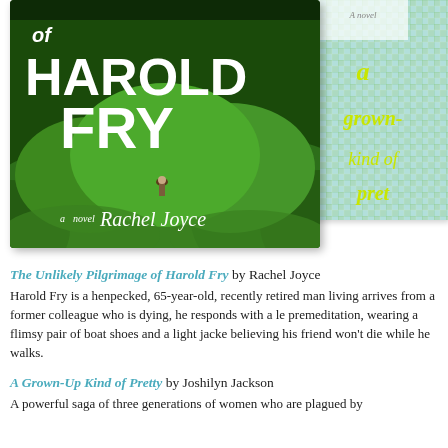[Figure (illustration): Two overlapping book covers. Left: 'The Unlikely Pilgrimage of Harold Fry' by Rachel Joyce — green rolling hills with a small figure, white bold text. Right: 'A Grown-Up Kind of Pretty' — green gingham background with cursive yellow-green title text, partially visible.]
The Unlikely Pilgrimage of Harold Fry by Rachel Joyce
Harold Fry is a henpecked, 65-year-old, recently retired man living... arrives from a former colleague who is dying, he responds with a le... premeditation, wearing a flimsy pair of boat shoes and a light jacke... believing his friend won't die while he walks.
A Grown-Up Kind of Pretty by Joshilyn Jackson
A powerful saga of three generations of women who are plagued by...